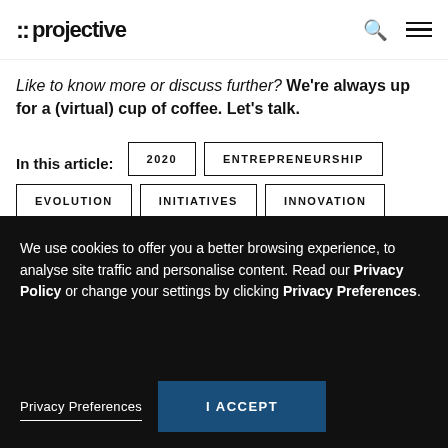:: projective
Like to know more or discuss further? We're always up for a (virtual) cup of coffee. Let's talk.
In this article:
2020
ENTREPRENEURSHIP
EVOLUTION
INITIATIVES
INNOVATION
We use cookies to offer you a better browsing experience, to analyse site traffic and personalise content. Read our Privacy Policy or change your settings by clicking Privacy Preferences.
Privacy Preferences
I ACCEPT